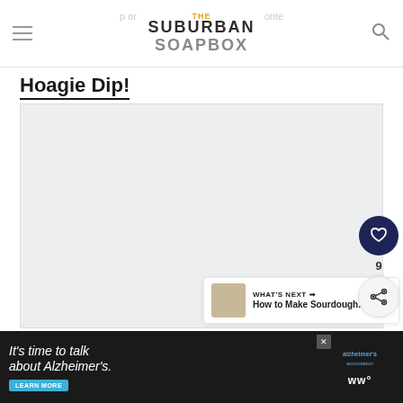The Suburban Soapbox
Hoagie Dip!
[Figure (photo): Light gray placeholder image area for Hoagie Dip recipe photo]
[Figure (illustration): Floating social action buttons: heart/like button with count 9, and share button]
WHAT'S NEXT → How to Make Sourdough...
[Figure (screenshot): Advertisement banner: It's time to talk about Alzheimer's. LEARN MORE button. Alzheimer's Association logo. WW logo.]